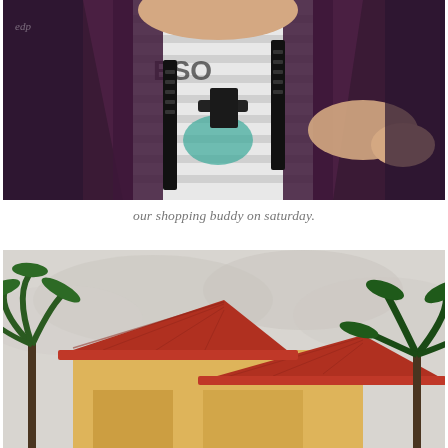[Figure (photo): Close-up photo of a young child/toddler sitting in a stroller or shopping cart, wearing a white striped shirt with text on it under a dark purple harness/strap system with black buckles. The child's arm is visible reaching out.]
our shopping buddy on saturday.
[Figure (photo): Outdoor photo of a building with terracotta/red tile rooflines and beige/yellow stucco walls, with palm trees visible on the left and right sides under a cloudy grey sky.]